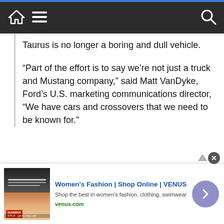Navigation bar with home, menu, and search icons
Taurus is no longer a boring and dull vehicle.
“Part of the effort is to say we’re not just a truck and Mustang company,” said Matt VanDyke, Ford’s U.S. marketing communications director, “We have cars and crossovers that we need to be known for.”
[Figure (other): Advertisement banner for Women's Fashion | Shop Online | VENUS. Shows ad image with Summer Sale, title in blue, subtitle text, venus.com domain in green, and a purple arrow button.]